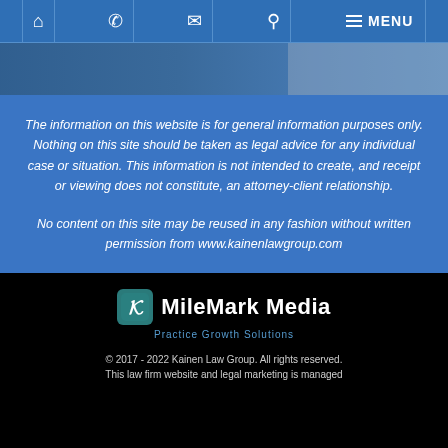Navigation bar with home, phone, email, search, and menu icons
[Figure (photo): Dark blue city/map aerial background image with lighter overlay on right side]
The information on this website is for general information purposes only. Nothing on this site should be taken as legal advice for any individual case or situation. This information is not intended to create, and receipt or viewing does not constitute, an attorney-client relationship.
No content on this site may be reused in any fashion without written permission from www.kainenlawgroup.com
[Figure (logo): MileMark Media logo with teal M icon and white text, subtitle 'Practice Growth Solutions' in blue]
© 2017 - 2022 Kainen Law Group. All rights reserved. This law firm website and legal marketing is managed